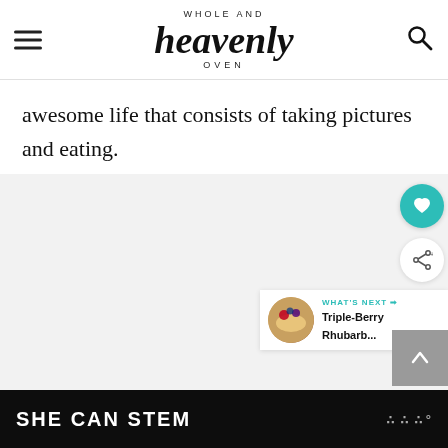Whole and Heavenly Oven
awesome life that consists of taking pictures and eating.
[Figure (screenshot): Light gray content area with social action buttons (heart/share), a 'What's Next' preview card showing Triple-Berry Rhubarb..., and an up-arrow scroll button]
SHE CAN STEM